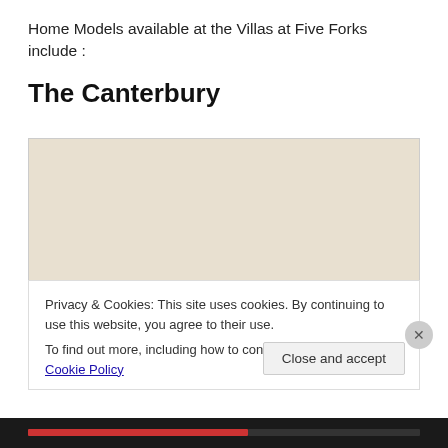Home Models available at the Villas at Five Forks include :
The Canterbury
[Figure (schematic): Floor plan of The Canterbury home model showing a narrow horizontal layout with rooms including bedrooms, bathrooms, and living areas. The upper portion shows a beige/tan empty background and the lower portion shows the actual floor plan drawing with cross-hatched rooms and a yellow section on the right.]
Privacy & Cookies: This site uses cookies. By continuing to use this website, you agree to their use.
To find out more, including how to control cookies, see here: Cookie Policy